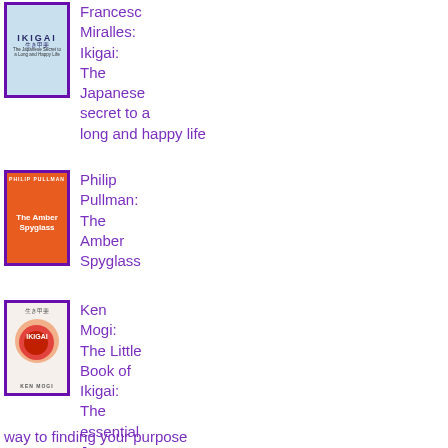[Figure (illustration): Book cover: Ikigai – The Japanese Secret to a Long and Happy Life, light blue cover with cherry blossom branch, purple border]
Francesc Miralles: Ikigai: The Japanese secret to a long and happy life
[Figure (illustration): Book cover: The Amber Spyglass by Philip Pullman, orange cover with architectural motif, purple border]
Philip Pullman: The Amber Spyglass
[Figure (illustration): Book cover: The Little Book of Ikigai by Ken Mogi, cream cover with overlapping orange/red circles, purple border]
Ken Mogi: The Little Book of Ikigai: The essential Japanese way to finding your purpose